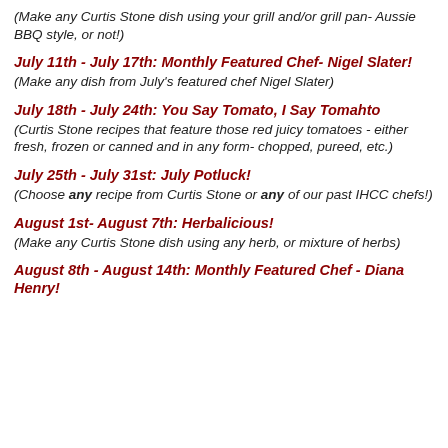(Make any Curtis Stone dish using your grill and/or grill pan- Aussie BBQ style, or not!)
July 11th - July 17th: Monthly Featured Chef- Nigel Slater!
(Make any dish from July's featured chef Nigel Slater)
July 18th - July 24th: You Say Tomato, I Say Tomahto
(Curtis Stone recipes that feature those red juicy tomatoes - either fresh, frozen or canned and in any form- chopped, pureed, etc.)
July 25th - July 31st: July Potluck!
(Choose any recipe from Curtis Stone or any of our past IHCC chefs!)
August 1st- August 7th: Herbalicious!
(Make any Curtis Stone dish using any herb, or mixture of herbs)
August 8th - August 14th: Monthly Featured Chef - Diana Henry!